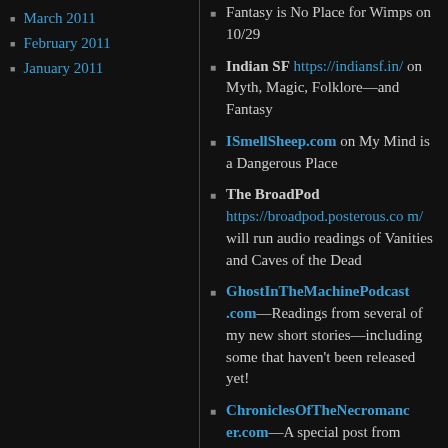March 2011
February 2011
January 2011
Fantasy is No Place for Wimps on 10/29
Indian SF https://indiansf.in/ on Myth, Magic, Folklore—and Fantasy
ISmellSheep.com on My Mind is a Dangerous Place
The BroadPod https://broadpod.posterous.com/ will run audio readings of Vanities and Caves of the Dead
GhostInTheMachinePodcast.com—Readings from several of my new short stories—including some that haven't been released yet!
ChroniclesOfTheNecromanc er.com—A special post from